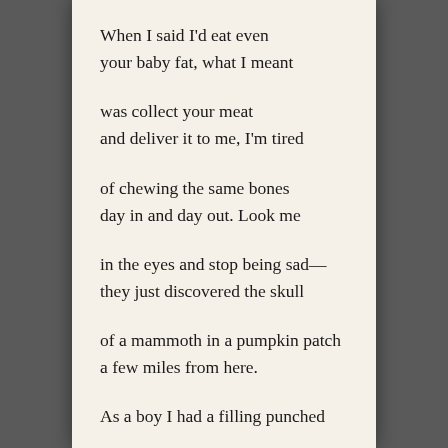When I said I'd eat even
your baby fat, what I meant

was collect your meat
and deliver it to me, I'm tired

of chewing the same bones
day in and day out. Look me

in the eyes and stop being sad—
they just discovered the skull

of a mammoth in a pumpkin patch
a few miles from here.

As a boy I had a filling punched